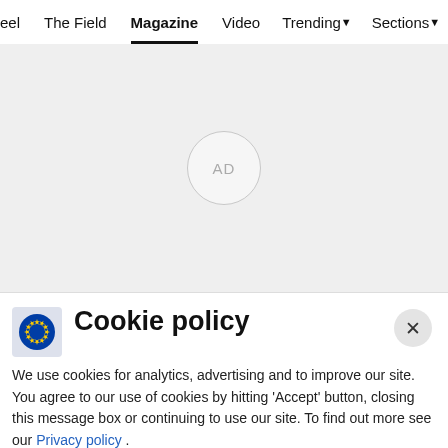eel  The Field  Magazine  Video  Trending  Sections
[Figure (other): Advertisement placeholder area with grey background and circular AD label in center]
Cookie policy
We use cookies for analytics, advertising and to improve our site. You agree to our use of cookies by hitting ‘Accept’ button, closing this message box or continuing to use our site. To find out more see our Privacy policy .
Accept